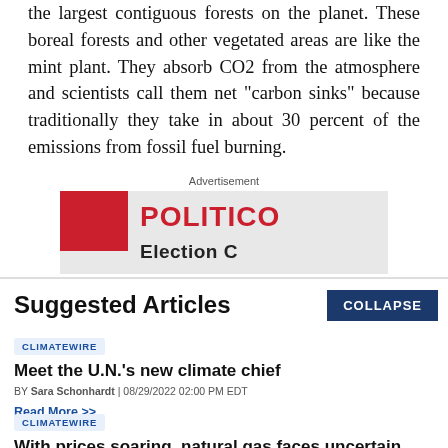the largest contiguous forests on the planet. These boreal forests and other vegetated areas are like the mint plant. They absorb CO2 from the atmosphere and scientists call them net "carbon sinks" because traditionally they take in about 30 percent of the emissions from fossil fuel burning.
[Figure (screenshot): Advertisement: Politico ad with red square logo and POLITICO text in red on grey background]
Suggested Articles
CLIMATEWIRE
Meet the U.N.'s new climate chief
BY Sara Schonhardt | 08/29/2022 02:00 PM EDT
Read More >>
CLIMATEWIRE
With prices soaring, natural gas faces uncertain future